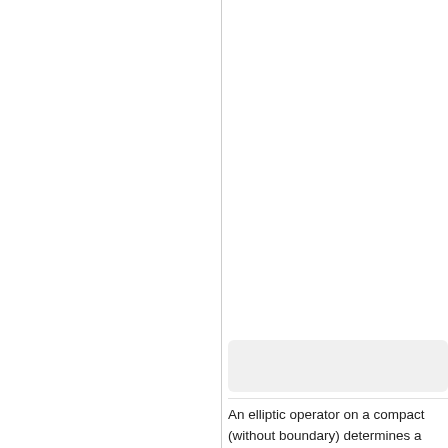[Figure (other): Light gray rounded rectangle box, likely a UI element or search bar placeholder in the right column]
An elliptic operator on a compact (without boundary) determines a Fredholm map between corresponding Sobolev spaces, and also between infinitely-differentiable functions. This depends only on the principal symbol and does